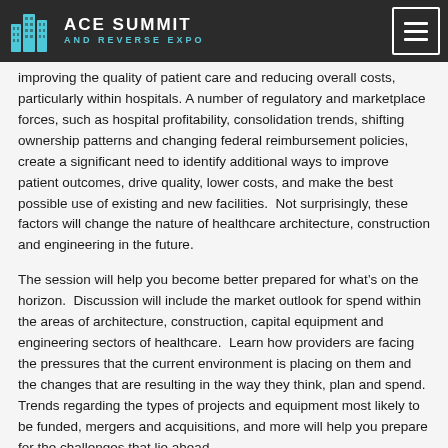ACE SUMMIT AND REVERSE EXPO
improving the quality of patient care and reducing overall costs, particularly within hospitals. A number of regulatory and marketplace forces, such as hospital profitability, consolidation trends, shifting ownership patterns and changing federal reimbursement policies, create a significant need to identify additional ways to improve patient outcomes, drive quality, lower costs, and make the best possible use of existing and new facilities.  Not surprisingly, these factors will change the nature of healthcare architecture, construction and engineering in the future.
The session will help you become better prepared for what’s on the horizon.  Discussion will include the market outlook for spend within the areas of architecture, construction, capital equipment and engineering sectors of healthcare.  Learn how providers are facing the pressures that the current environment is placing on them and the changes that are resulting in the way they think, plan and spend.  Trends regarding the types of projects and equipment most likely to be funded, mergers and acquisitions, and more will help you prepare for the challenges that lie ahead.